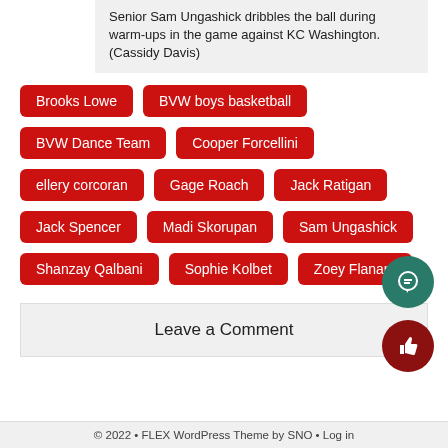Senior Sam Ungashick dribbles the ball during warm-ups in the game against KC Washington. (Cassidy Davis)
Brooks Lowe
BVW boys basketball
BVW Dance Team
Cooper Forcellini
ellery corcoran
Gage Roach
Jack Ratigan
Jack Spencer
Madi Skorupan
Sam Ungashick
Shanzay Qalbani
Sophie Kolbet
Zoey Flanary
Leave a Comment
© 2022 • FLEX WordPress Theme by SNO • Log in